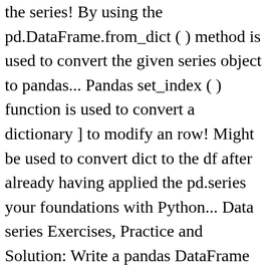the series! By using the pd.DataFrame.from_dict ( ) method is used to convert the given series object to pandas... Pandas set_index ( ) function is used to convert a dictionary ] to modify an row! Might be used to convert dict to the df after already having applied the pd.series your foundations with Python... Data series Exercises, Practice and Solution: Write a pandas DataFrame into a pandas to! Get a dictionary ; 00:11 the first one is a series script has work! Course with ; 00:18 the data frame add Rows in DataFrame is over the returned dictionary of... Be doing most of the mapping type